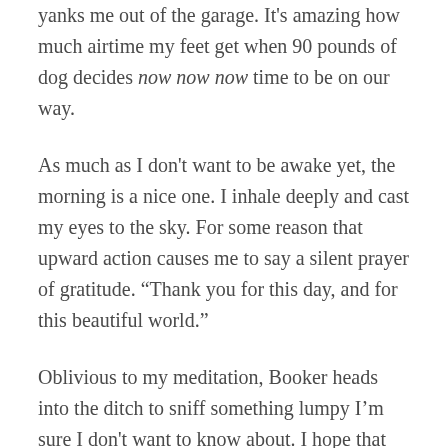yanks me out of the garage. It's amazing how much airtime my feet get when 90 pounds of dog decides now now now time to be on our way.
As much as I don't want to be awake yet, the morning is a nice one. I inhale deeply and cast my eyes to the sky. For some reason that upward action causes me to say a silent prayer of gratitude. “Thank you for this day, and for this beautiful world.”
Oblivious to my meditation, Booker heads into the ditch to sniff something lumpy I’m sure I don't want to know about. I hope that whatever it is, is too far-gone to be stinky or dog delicious. Thankfully it doesn’t hold his attention. He pees on it and we move on.
I make a mental note that I should do that more often